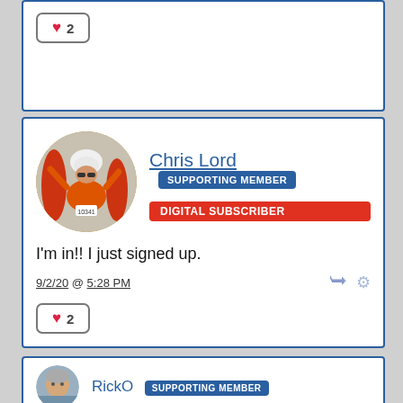[Figure (other): Like button showing heart icon and count 2 at top of first comment card]
[Figure (photo): Profile photo of Chris Lord, cyclist wearing orange jersey and helmet at a race]
Chris Lord  SUPPORTING MEMBER
DIGITAL SUBSCRIBER
I'm in!!  I just signed up.
9/2/20 @ 5:28 PM
[Figure (other): Like button showing heart icon and count 2]
[Figure (photo): Profile photo of RickO, older man]
RickO  SUPPORTING MEMBER